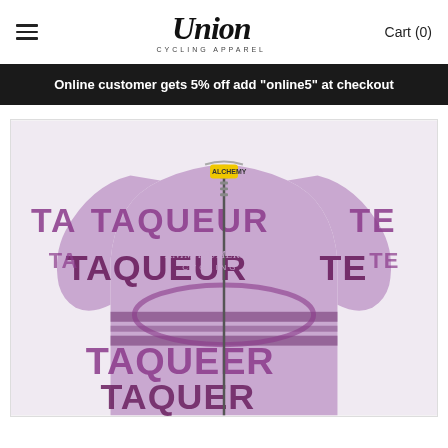Union Cycling Apparel — Cart (0)
Online customer gets 5% off add "online5" at checkout
[Figure (photo): Purple/mauve cycling jersey with 'TAQUEUR' text pattern printed all over, featuring a yellow zipper tag, short sleeves, and dark purple stripe detailing. Brand 'Union Cycling' watermark visible on the chest.]